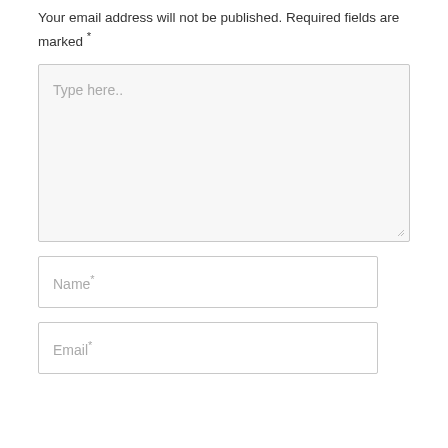Your email address will not be published. Required fields are marked *
[Figure (screenshot): A large comment text area input field with placeholder text 'Type here..' and a resize handle in the bottom-right corner. Below are two smaller text input fields labeled 'Name*' and 'Email*'.]